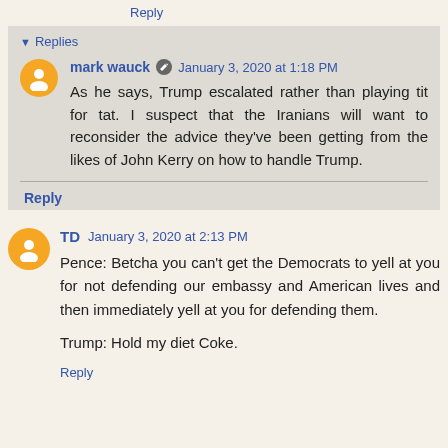Reply
Replies
mark wauck  January 3, 2020 at 1:18 PM
As he says, Trump escalated rather than playing tit for tat. I suspect that the Iranians will want to reconsider the advice they've been getting from the likes of John Kerry on how to handle Trump.
Reply
TD  January 3, 2020 at 2:13 PM
Pence: Betcha you can't get the Democrats to yell at you for not defending our embassy and American lives and then immediately yell at you for defending them.

Trump: Hold my diet Coke.
Reply